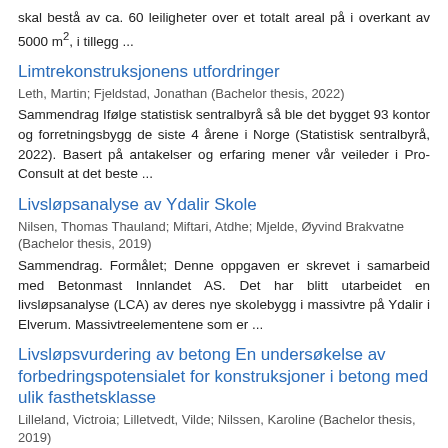skal bestå av ca. 60 leiligheter over et totalt areal på i overkant av 5000 m², i tillegg ...
Limtrekonstruksjonens utfordringer
Leth, Martin; Fjeldstad, Jonathan (Bachelor thesis, 2022)
Sammendrag Ifølge statistisk sentralbyrå så ble det bygget 93 kontor og forretningsbygg de siste 4 årene i Norge (Statistisk sentralbyrå, 2022). Basert på antakelser og erfaring mener vår veileder i Pro-Consult at det beste ...
Livsløpsanalyse av Ydalir Skole
Nilsen, Thomas Thauland; Miftari, Atdhe; Mjelde, Øyvind Brakvatne (Bachelor thesis, 2019)
Sammendrag. Formålet; Denne oppgaven er skrevet i samarbeid med Betonmast Innlandet AS. Det har blitt utarbeidet en livsløpsanalyse (LCA) av deres nye skolebygg i massivtre på Ydalir i Elverum. Massivtreelementene som er ...
Livsløpsvurdering av betong En undersøkelse av forbedringspotensialet for konstruksjoner i betong med ulik fasthetsklasse
Lilleland, Victroia; Lilletvedt, Vilde; Nilssen, Karoline (Bachelor thesis, 2019)